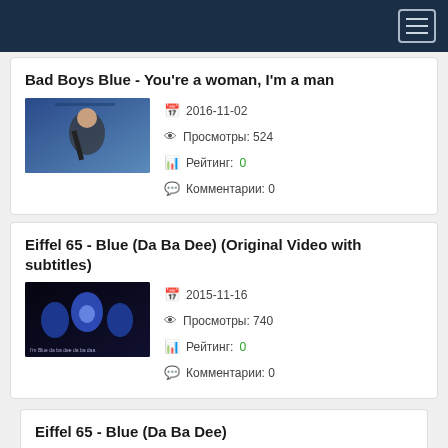Navigation header bar
Bad Boys Blue - You're a woman, I'm a man
2016-11-02
Просмотры: 524
Рейтинг: 0
Комментарии: 0
Eiffel 65 - Blue (Da Ba Dee) (Original Video with subtitles)
2015-11-16
Просмотры: 740
Рейтинг: 0
Комментарии: 0
Eiffel 65 - Blue (Da Ba Dee)